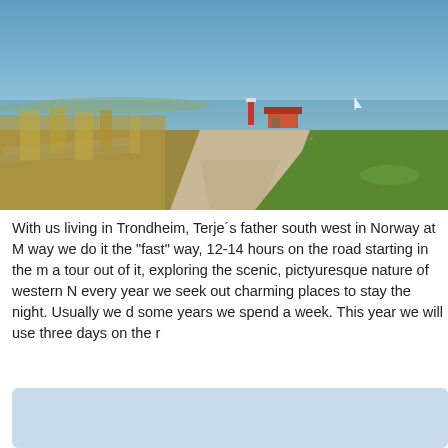[Figure (photo): Scenic coastal landscape photo showing a gravel path leading toward a lighthouse and a small building with a red roof. Stone walls line both sides of the path. Tall golden grasses on the left, green clover-covered ground on the right. Blue sky and calm sea in the background.]
With us living in Trondheim, Terje´s father south west in Norway at M way we do it the "fast" way, 12-14 hours on the road starting in the m a tour out of it, exploring the scenic, pictyuresque nature of western N every year we seek out charming places to stay the night. Usually we d some years we spend a week. This year we will use three days on the r